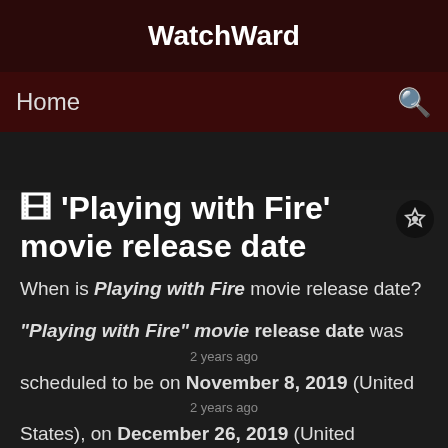WatchWard
Home
🎬 'Playing with Fire' movie release date
When is Playing with Fire movie release date?
"Playing with Fire" movie release date was scheduled to be on November 8, 2019 (United States), on December 26, 2019 (United